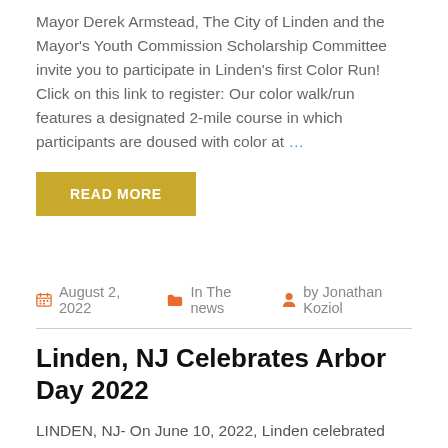Mayor Derek Armstead, The City of Linden and the Mayor's Youth Commission Scholarship Committee invite you to participate in Linden's first Color Run!  Click on this link to register:  Our color walk/run features a designated 2-mile course in which participants are doused with color at …
READ MORE
August 2, 2022  In The news  by Jonathan Koziol
Linden, NJ Celebrates Arbor Day 2022
LINDEN, NJ- On June 10, 2022, Linden celebrated Arbor